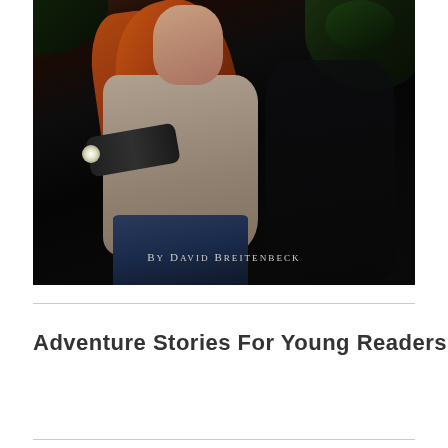[Figure (illustration): Book cover illustration showing a young woman with long red/auburn hair wearing a beige long-sleeve top and dark jeans, holding a flashlight in a dark forest setting. A shadowy figure is visible in the background. Text overlay reads 'By David Breitenbeck'.]
Adventure Stories For Young Readers